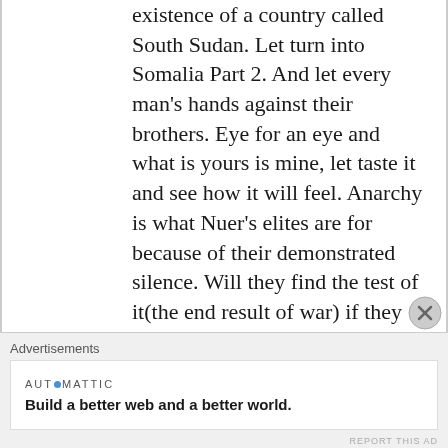existence of a country called South Sudan. Let turn into Somalia Part 2. And let every man's hands against their brothers. Eye for an eye and what is yours is mine, let taste it and see how it will feel. Anarchy is what Nuer's elites are for because of their demonstrated silence. Will they find the test of it(the end result of war) if they kept their mouths opened like they are here. Stay tuned and we will witness the
Advertisements
[Figure (other): Automattic advertisement banner: 'Build a better web and a better world.']